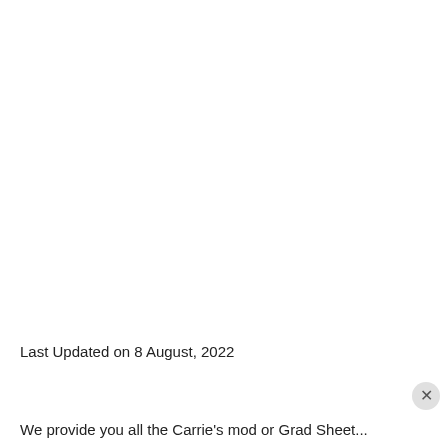Last Updated on 8 August, 2022
We provide you all the Carrie's mod or Grad Sheet...